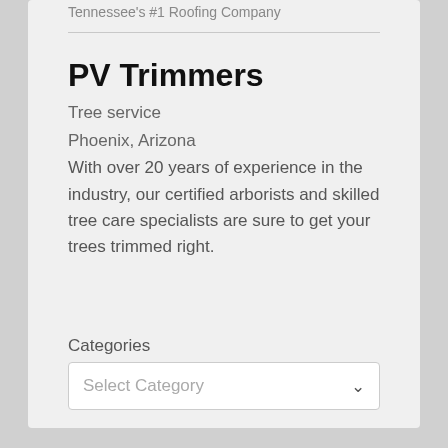Tennessee's #1 Roofing Company
PV Trimmers
Tree service
Phoenix, Arizona
With over 20 years of experience in the industry, our certified arborists and skilled tree care specialists are sure to get your trees trimmed right.
Categories
Select Category